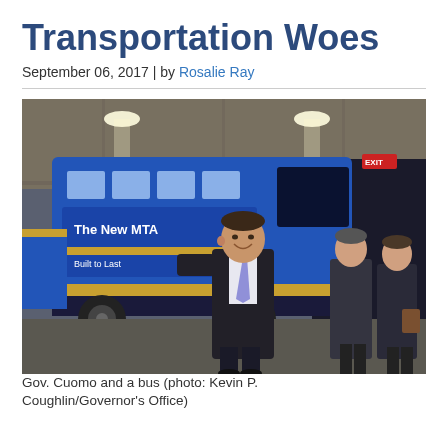Transportation Woes
September 06, 2017 | by Rosalie Ray
[Figure (photo): Governor Cuomo smiling and walking in front of a blue MTA bus labeled 'The New MTA' and 'Built to Last', with two men in suits walking behind him in what appears to be a bus depot or garage.]
Gov. Cuomo and a bus (photo: Kevin P. Coughlin/Governor's Office)